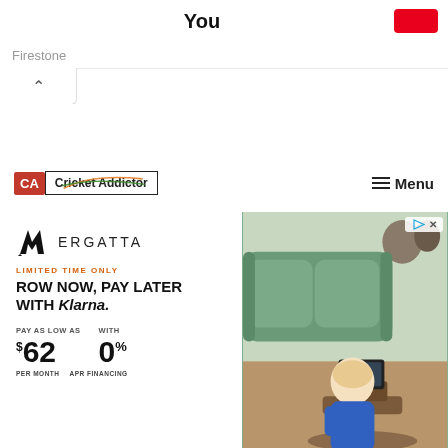You
[Figure (logo): Red button in top right corner]
Firestone
[Figure (logo): Chevron/up arrow button]
[Figure (logo): Cricket Addictor logo with CA icon and swoosh graphic]
≡ Menu
[Figure (infographic): Ergatta rowing machine advertisement. LIMITED TIME ONLY. ROW NOW, PAY LATER WITH Klarna. PAY AS LOW AS $62 PER MONTH WITH 0% APR FINANCING. Right side shows photo of person using rowing machine with green sofa in background.]
LIMITED TIME ONLY
ROW NOW, PAY LATER WITH Klarna.
PAY AS LOW AS
$62
WITH
0%
PER MONTH
APR FINANCING